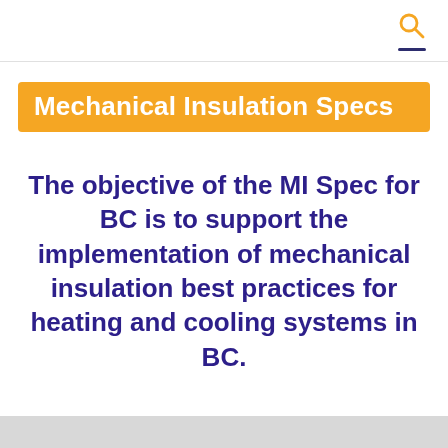Mechanical Insulation Specs
The objective of the MI Spec for BC is to support the implementation of mechanical insulation best practices for heating and cooling systems in BC.